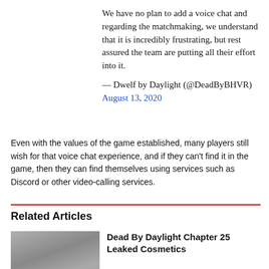We have no plan to add a voice chat and regarding the matchmaking, we understand that it is incredibly frustrating, but rest assured the team are putting all their effort into it.
— Dwelf by Daylight (@DeadByBHVR) August 13, 2020
Even with the values of the game established, many players still wish for that voice chat experience, and if they can't find it in the game, then they can find themselves using services such as Discord or other video-calling services.
Related Articles
Dead By Daylight Chapter 25 Leaked Cosmetics
Andrew Harper | Aug 30, 2022